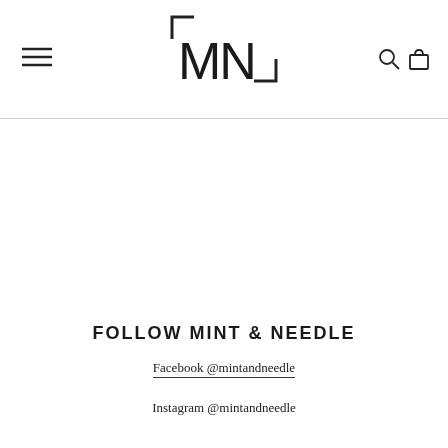[Figure (logo): Mint & Needle logo: stylized MN letters inside bracket corners]
FOLLOW MINT & NEEDLE
Facebook @mintandneedle
Instagram @mintandneedle